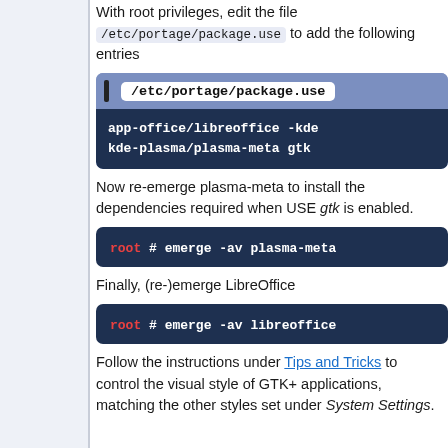With root privileges, edit the file /etc/portage/package.use to add the following entries
[Figure (screenshot): Code block showing file /etc/portage/package.use with entries: app-office/libreoffice -kde kde-plasma/plasma-meta gtk]
Now re-emerge plasma-meta to install the dependencies required when USE gtk is enabled.
[Figure (screenshot): Terminal command: root # emerge -av plasma-meta]
Finally, (re-)emerge LibreOffice
[Figure (screenshot): Terminal command: root # emerge -av libreoffice]
Follow the instructions under Tips and Tricks to control the visual style of GTK+ applications, matching the other styles set under System Settings.